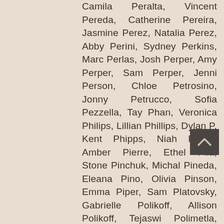Camila Peralta, Vincent Pereda, Catherine Pereira, Jasmine Perez, Natalia Perez, Abby Perini, Sydney Perkins, Marc Perlas, Josh Perper, Amy Perper, Sam Perper, Jenni Person, Chloe Petrosino, Jonny Petrucco, Sofia Pezzella, Tay Phan, Veronica Philips, Lillian Phillips, Dylan P, Kent Phipps, Niah Pierre, Amber Pierre, Ethel Pila, Stone Pinchuk, Michal Pineda, Eleana Pino, Olivia Pinson, Emma Piper, Sam Platovsky, Gabrielle Polikoff, Allison Polikoff, Tejaswi Polimetla, Ethan Poliner, Rebecca Poliner, Michelle Pombo, Barbara Pomerance, Townsend Porcher, Mackenzie Potts, Tarah Pownall, Anna-Leah Poznanski, Delshawn Prejean, Royce Prescott, Juanita Prieto, Rebeca Prieto, Zoe Primack, Joseph Principato, Eric Pugh, Michael Puretz, Abigail Putnam, Robert Puzio, Rachel Pyros, Daniela Quintero, Amaury Quintero, Chloe Quintero, Gabrielle Quiva, Cathleen Rabideau, Amy Rader, Mia Raducci, Sara